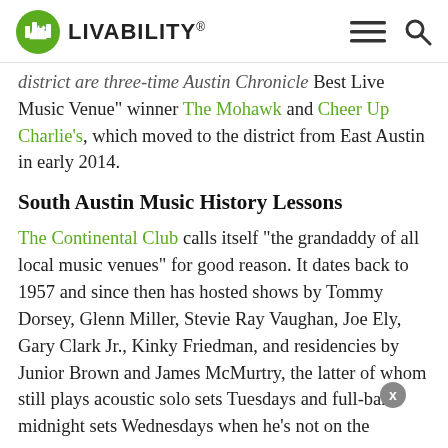LIVABILITY
district are three-time Austin Chronicle Best Live Music Venue” winner The Mohawk and Cheer Up Charlie’s, which moved to the district from East Austin in early 2014.
South Austin Music History Lessons
The Continental Club calls itself “the grandaddy of all local music venues” for good reason. It dates back to 1957 and since then has hosted shows by Tommy Dorsey, Glenn Miller, Stevie Ray Vaughan, Joe Ely, Gary Clark Jr., Kinky Friedman, and residencies by Junior Brown and James McMurtry, the latter of whom still plays acoustic solo sets Tuesdays and full-band midnight sets Wednesdays when he’s not on the